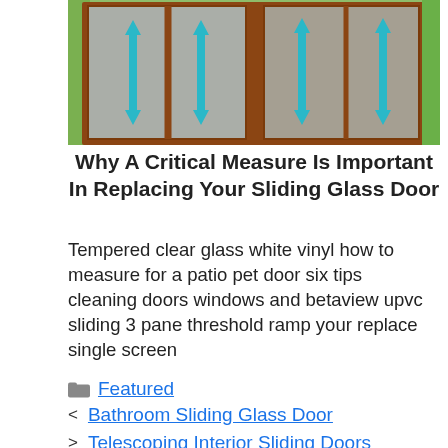[Figure (photo): Photo of a sliding glass door with three panes, wood frame, showing patio/garden outside. Teal/cyan downward arrows overlaid on each pane indicating measurement directions.]
Why A Critical Measure Is Important In Replacing Your Sliding Glass Door
Tempered clear glass white vinyl how to measure for a patio pet door six tips cleaning doors windows and betaview upvc sliding 3 pane threshold ramp your replace single screen
Featured
Bathroom Sliding Glass Door
Telescoping Interior Sliding Doors